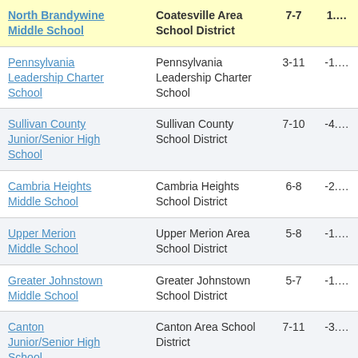| School | District | Grades | Value |
| --- | --- | --- | --- |
| North Brandywine Middle School | Coatesville Area School District | 7-7 | 1.… |
| Pennsylvania Leadership Charter School | Pennsylvania Leadership Charter School | 3-11 | -1.… |
| Sullivan County Junior/Senior High School | Sullivan County School District | 7-10 | -4.… |
| Cambria Heights Middle School | Cambria Heights School District | 6-8 | -2.… |
| Upper Merion Middle School | Upper Merion Area School District | 5-8 | -1.… |
| Greater Johnstown Middle School | Greater Johnstown School District | 5-7 | -1.… |
| Canton Junior/Senior High School | Canton Area School District | 7-11 | -3.… |